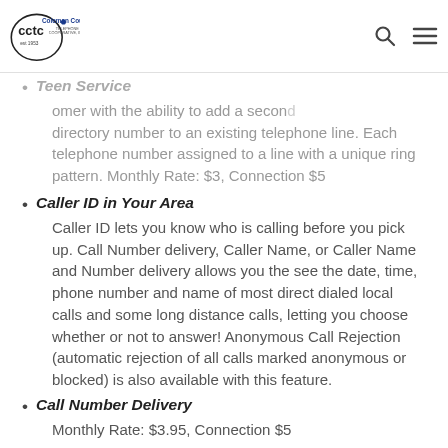Coleman County Telephone Cooperative, Inc.
Teen Service
...omer with the ability to add a second directory number to an existing telephone line. Each telephone number assigned to a line with a unique ring pattern. Monthly Rate: $3, Connection $5
Caller ID in Your Area
Caller ID lets you know who is calling before you pick up. Call Number delivery, Caller Name, or Caller Name and Number delivery allows you the see the date, time, phone number and name of most direct dialed local calls and some long distance calls, letting you choose whether or not to answer! Anonymous Call Rejection (automatic rejection of all calls marked anonymous or blocked) is also available with this feature.
Call Number Delivery
Monthly Rate: $3.95, Connection $5
Calling Name and Number Delivery
Monthly Rate: $4.95, Connection $5